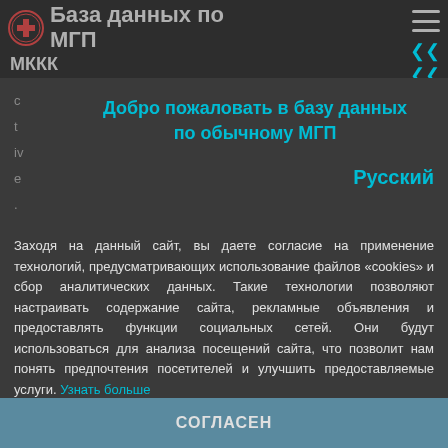База данных по МГП — МККК
Добро пожаловать в базу данных по обычному МГП
Русский
Заходя на данный сайт, вы даете согласие на применение технологий, предусматривающих использование файлов «cookies» и сбор аналитических данных. Такие технологии позволяют настраивать содержание сайта, рекламные объявления и предоставлять функции социальных сетей. Они будут использоваться для анализа посещений сайта, что позволит нам понять предпочтения посетителей и улучшить предоставляемые услуги.
Узнать больше
СОГЛАСЕН